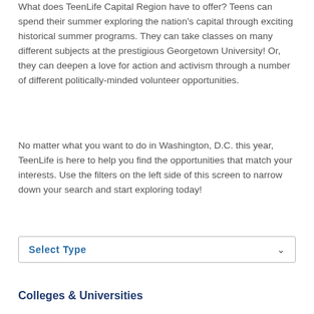What does TeenLife Capital Region have to offer? Teens can spend their summer exploring the nation's capital through exciting historical summer programs. They can take classes on many different subjects at the prestigious Georgetown University! Or, they can deepen a love for action and activism through a number of different politically-minded volunteer opportunities.
No matter what you want to do in Washington, D.C. this year, TeenLife is here to help you find the opportunities that match your interests. Use the filters on the left side of this screen to narrow down your search and start exploring today!
Select Type
Colleges & Universities